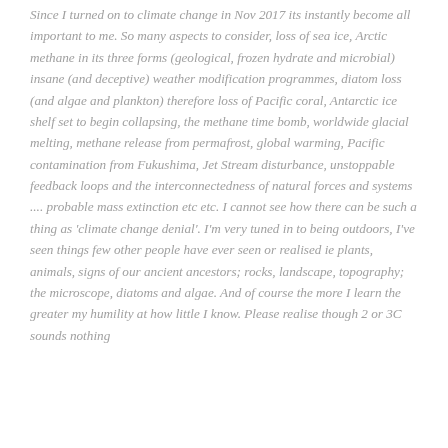Since I turned on to climate change in Nov 2017 its instantly become all important to me. So many aspects to consider, loss of sea ice, Arctic methane in its three forms (geological, frozen hydrate and microbial) insane (and deceptive) weather modification programmes, diatom loss (and algae and plankton) therefore loss of Pacific coral, Antarctic ice shelf set to begin collapsing, the methane time bomb, worldwide glacial melting, methane release from permafrost, global warming, Pacific contamination from Fukushima, Jet Stream disturbance, unstoppable feedback loops and the interconnectedness of natural forces and systems .... probable mass extinction etc etc. I cannot see how there can be such a thing as 'climate change denial'. I'm very tuned in to being outdoors, I've seen things few other people have ever seen or realised ie plants, animals, signs of our ancient ancestors; rocks, landscape, topography; the microscope, diatoms and algae. And of course the more I learn the greater my humility at how little I know. Please realise though 2 or 3C sounds nothing